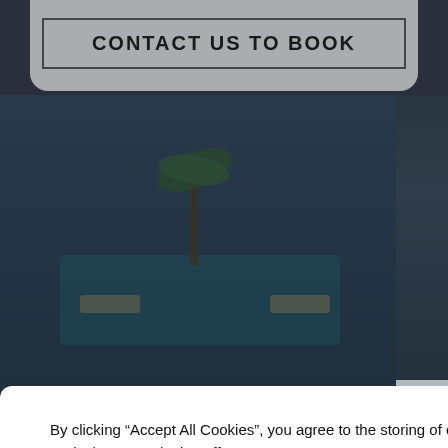CONTACT US TO BOOK
OVERVIEW
[Figure (photo): Darkened aerial/resort background photo showing pool area with palm trees and sun loungers]
By clicking “Accept All Cookies”, you agree to the storing of cookies on your device to enhance site navigation, analyze site usage, and assist in our marketing efforts.
Accept All Cookies
Reject All
Cookies Settings